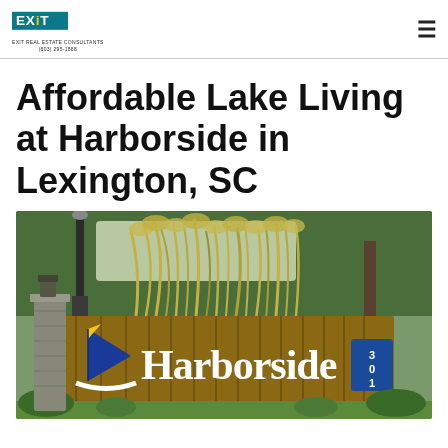EXIT REAL ESTATE CONSULTANTS (803) 295-1888
Affordable Lake Living at Harborside in Lexington, SC
[Figure (photo): Entrance sign for Harborside community featuring a wooden fence panel with a blue sailboat logo and 'Harborside' in white script lettering; blue number placard '301' on the right post; ornamental grasses and landscaping in background.]